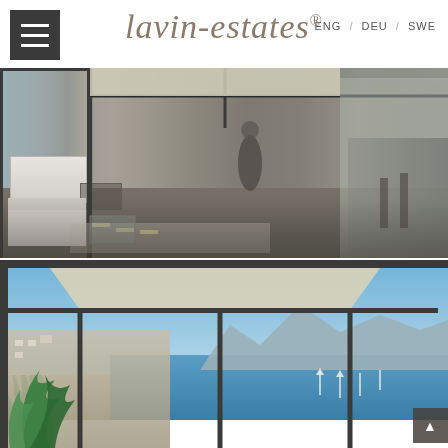ENG / DEU / SWE
lavin-estates®
[Figure (photo): Interior view of a modern luxury apartment with open-plan living area, glass walls, contemporary furniture including a white bed, glass coffee table, and a kitchen/bar area in the background with a person walking through]
[Figure (photo): Exterior terrace/balcony view of a luxury apartment overlooking a Mediterranean bay with mountains, marina with sailboats, and a coastal town. Green tropical plant visible on the left, awning overhead.]